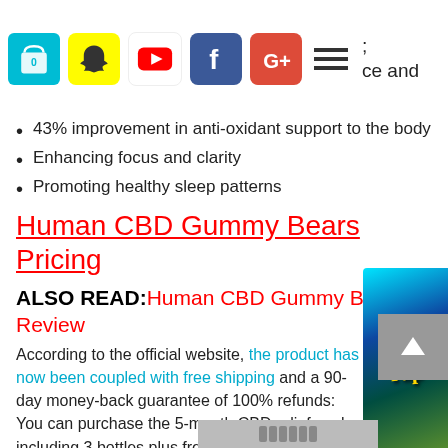Social media icons and navigation bar
43% improvement in anti-oxidant support to the body
Enhancing focus and clarity
Promoting healthy sleep patterns
Human CBD Gummy Bears Pricing
ALSO READ: Human CBD Gummy Bears Review
According to the official website, the product has now been coupled with free shipping and a 90-day money-back guarantee of 100% refunds:
You can purchase the 5-month CBD relief pack including 3 bottles plus free bottles of the Human CBD Gummy Bears at the price of $39.75 each instead of $66.23. This will save yo... 32.45.